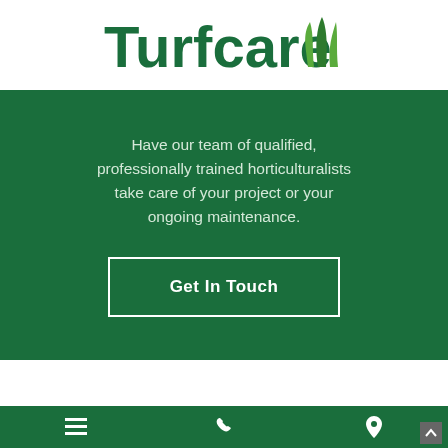[Figure (logo): Turfcare logo with green grass icon to the right of the text]
Have our team of qualified, professionally trained horticulturalists take care of your project or your ongoing maintenance.
Get In Touch
Navigation bar with menu, phone, and location icons